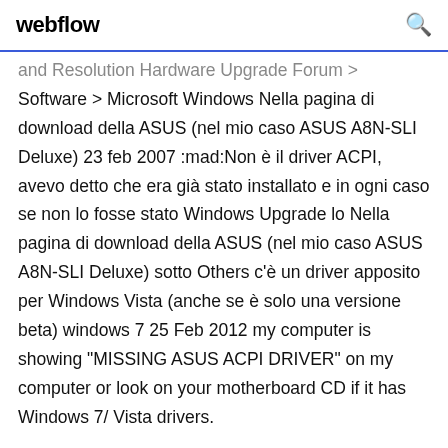webflow
and Resolution Hardware Upgrade Forum > Software > Microsoft Windows Nella pagina di download della ASUS (nel mio caso ASUS A8N-SLI Deluxe)  23 feb 2007 :mad:Non è il driver ACPI, avevo detto che era già stato installato e in ogni caso se non lo fosse stato Windows Upgrade lo Nella pagina di download della ASUS (nel mio caso ASUS A8N-SLI Deluxe) sotto Others c'è un driver apposito per Windows Vista (anche se è solo una versione beta) windows 7 25 Feb 2012 my computer is showing "MISSING ASUS ACPI DRIVER" on my computer or look on your motherboard CD if it has Windows 7/ Vista drivers.